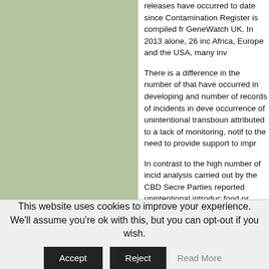[Figure (other): Solid sage/olive green rectangular panel on the left side of the page]
releases have occurred to date since Contamination Register is compiled fr GeneWatch UK. In 2013 alone, 26 inc Africa, Europe and the USA, many inv
There is a difference in the number of that have occurred in developing and number of records of incidents in deve occurrence of unintentional transboun attributed to a lack of monitoring, notif to the need to provide support to impr
In contrast to the high number of incid analysis carried out by the CBD Secre Parties reported unintentional introduc food or seeds, while two other Parties LMOs into their territories.
In addition, very few Parties (only nine occurrences that led, or may have led jurisdiction. The majority (133 Parties) information, during the reporting perio
Of the nine Parties, eight responded f
This website uses cookies to improve your experience. We'll assume you're ok with this, but you can opt-out if you wish.